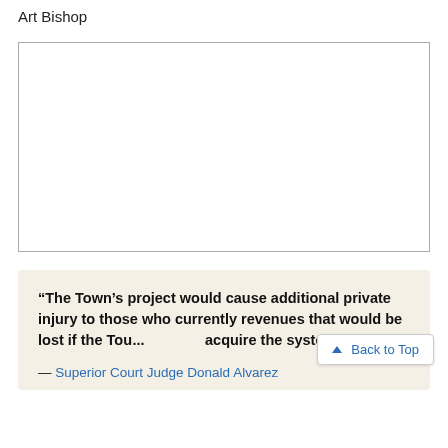Art Bishop
[Figure (other): Empty white rectangle with gray border, likely a placeholder for an image.]
“The Town’s project would cause additional private injury to those who currently revenues that would be lost if the Tow... acquire the system.” — Superior Court Judge Donald Alvarez